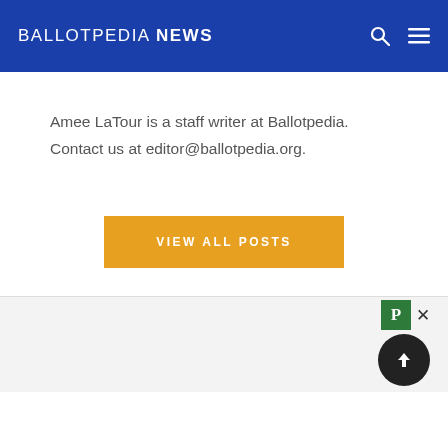BALLOTPEDIA NEWS
Amee LaTour is a staff writer at Ballotpedia.
Contact us at editor@ballotpedia.org.
[Figure (other): Orange button labeled VIEW ALL POSTS]
[Figure (other): Bottom area with Pubpeer P logo widget and scroll-to-top dark circle button with up arrow]